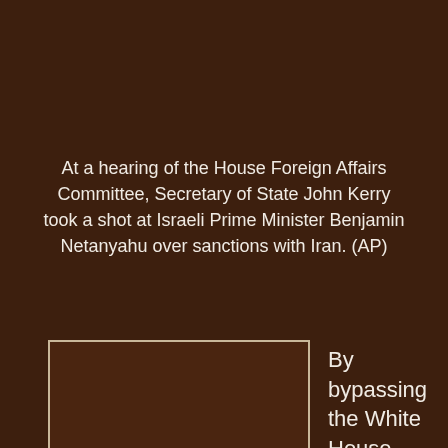At a hearing of the House Foreign Affairs Committee, Secretary of State John Kerry took a shot at Israeli Prime Minister Benjamin Netanyahu over sanctions with Iran. (AP)
[Figure (photo): Photo placeholder showing a broken image icon, representing an image of the House Foreign Affairs Committee hearing.]
By bypassing the White House, dealing only with GOP leaders and scheduling the speech